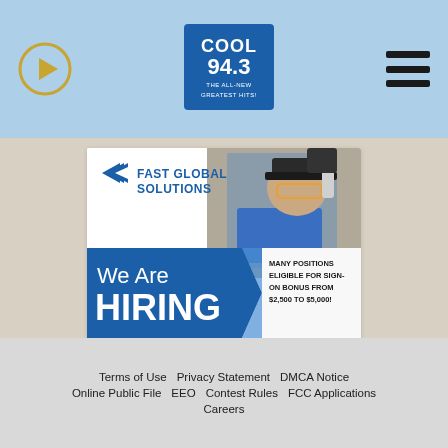[Figure (logo): Play button icon (circle with triangle) on light blue header bar]
[Figure (logo): Cool 94.3 The All-New Greatest Hits radio station logo]
[Figure (other): Hamburger menu icon (three horizontal lines)]
[Figure (infographic): Fast Global Solutions hiring advertisement. Shows company logo, a worker wearing safety glasses, text: We Are HIRING, MANY POSITIONS ELIGIBLE FOR SIGN-ON BONUS FROM $2,500 TO $5,000!, WorkatFAST.com]
Terms of Use   Privacy Statement   DMCA Notice   Online Public File   EEO   Contest Rules   FCC Applications   Careers